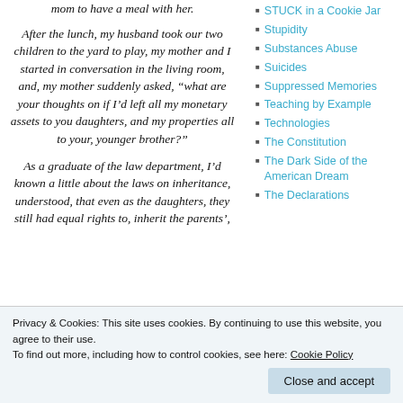mom to have a meal with her.
After the lunch, my husband took our two children to the yard to play, my mother and I started in conversation in the living room, and, my mother suddenly asked, “what are your thoughts on if I’d left all my monetary assets to you daughters, and my properties all to your, younger brother?”
As a graduate of the law department, I’d known a little about the laws on inheritance, understood, that even as the daughters, they still had equal rights to, inherit the parents’,
STUCK in a Cookie Jar
Stupidity
Substances Abuse
Suicides
Suppressed Memories
Teaching by Example
Technologies
The Constitution
The Dark Side of the American Dream
The Declarations
Privacy & Cookies: This site uses cookies. By continuing to use this website, you agree to their use.
To find out more, including how to control cookies, see here: Cookie Policy
Close and accept